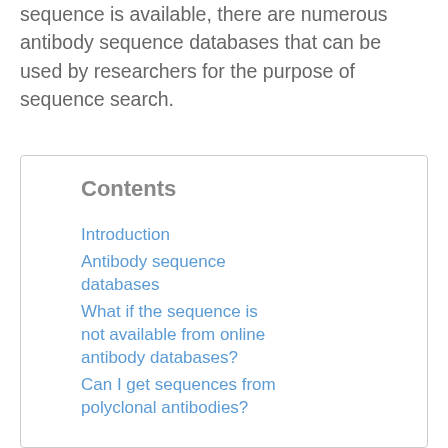sequence is available, there are numerous antibody sequence databases that can be used by researchers for the purpose of sequence search.
Contents
Introduction
Antibody sequence databases
What if the sequence is not available from online antibody databases?
Can I get sequences from polyclonal antibodies?